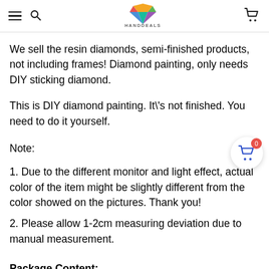HANDDEALS header with hamburger menu, search, logo, and cart icon
We sell the resin diamonds, semi-finished products, not including frames! Diamond painting, only needs DIY sticking diamond.
This is DIY diamond painting. It\'s not finished. You need to do it yourself.
Note:
1. Due to the different monitor and light effect, actual color of the item might be slightly different from the color showed on the pictures. Thank you!
2. Please allow 1-2cm measuring deviation due to manual measurement.
Package Content:
1 X Diamond Painting (diamonds need to be pasted)
1set X Diamond Painting Tools (not including painting frame)